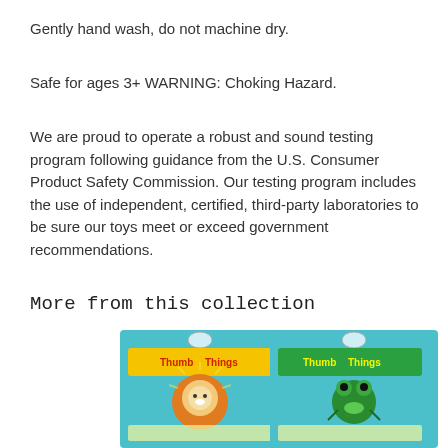Gently hand wash, do not machine dry.
Safe for ages 3+ WARNING: Choking Hazard.
We are proud to operate a robust and sound testing program following guidance from the U.S. Consumer Product Safety Commission. Our testing program includes the use of independent, certified, third-party laboratories to be sure our toys meet or exceed government recommendations.
More from this collection
[Figure (photo): Two product photos side by side: left shows a lion finger puppet in packaging labeled ThumbThings, right shows a frog finger puppet in packaging labeled ThumbThings]
More from this collection - finger puppet products